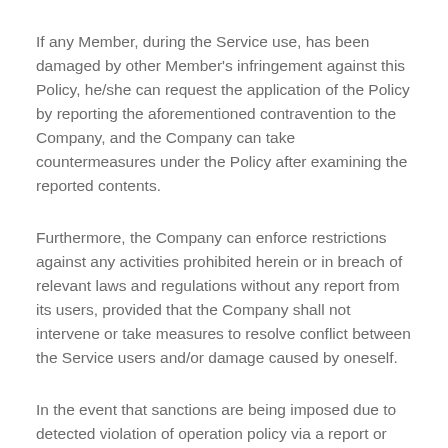If any Member, during the Service use, has been damaged by other Member's infringement against this Policy, he/she can request the application of the Policy by reporting the aforementioned contravention to the Company, and the Company can take countermeasures under the Policy after examining the reported contents.
Furthermore, the Company can enforce restrictions against any activities prohibited herein or in breach of relevant laws and regulations without any report from its users, provided that the Company shall not intervene or take measures to resolve conflict between the Service users and/or damage caused by oneself.
In the event that sanctions are being imposed due to detected violation of operation policy via a report or other methods, the Company will notify a publisher of the details of such sanctions through notifications in the service, e-mails, etc. as quickly as